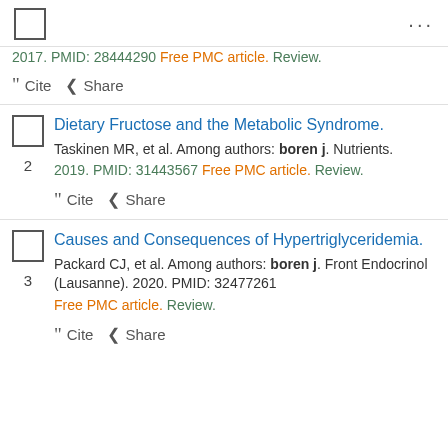...
2017. PMID: 28444290 Free PMC article. Review.
Cite  Share
Dietary Fructose and the Metabolic Syndrome.
Taskinen MR, et al. Among authors: boren j. Nutrients. 2019. PMID: 31443567 Free PMC article. Review.
Cite  Share
Causes and Consequences of Hypertriglyceridemia.
Packard CJ, et al. Among authors: boren j. Front Endocrinol (Lausanne). 2020. PMID: 32477261 Free PMC article. Review.
Cite  Share